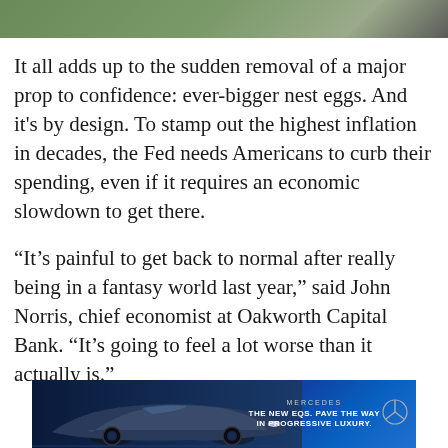[Figure (photo): Top portion of an outdoor photo showing a road or driveway with grass and pavement]
It all adds up to the sudden removal of a major prop to confidence: ever-bigger nest eggs. And it's by design. To stamp out the highest inflation in decades, the Fed needs Americans to curb their spending, even if it requires an economic slowdown to get there.
“It’s painful to get back to normal after really being in a fantasy world last year,” said John Norris, chief economist at Oakworth Capital Bank. “It’s going to feel a lot worse than it actually is.”
[Figure (photo): Mercedes-Benz advertisement banner showing the new EQS electric car with tagline: THE NEW EQS. PAVE THE WAY IN PROGRESSIVE LUXURY.]